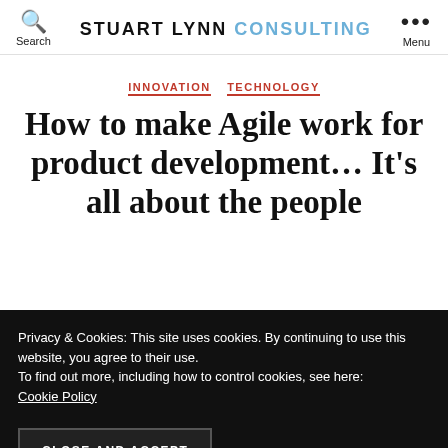Search  STUART LYNN CONSULTING  Menu
INNOVATION  TECHNOLOGY
How to make Agile work for product development… It's all about the people
Privacy & Cookies: This site uses cookies. By continuing to use this website, you agree to their use.
To find out more, including how to control cookies, see here:
Cookie Policy
CLOSE AND ACCEPT
detail, I've been